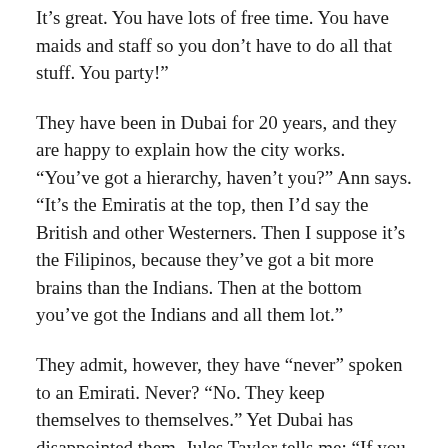It's great. You have lots of free time. You have maids and staff so you don't have to do all that stuff. You party!"
They have been in Dubai for 20 years, and they are happy to explain how the city works. “You’ve got a hierarchy, haven’t you?” Ann says. “It’s the Emiratis at the top, then I’d say the British and other Westerners. Then I suppose it’s the Filipinos, because they’ve got a bit more brains than the Indians. Then at the bottom you’ve got the Indians and all them lot.”
They admit, however, they have “never” spoken to an Emirati. Never? “No. They keep themselves to themselves.” Yet Dubai has disappointed them. Jules Taylor tells me: “If you have an accident here it’s a nightmare. There was a British woman we knew who ran over an Indian guy, and she was locked up for four days! If you have a tiny bit of alcohol on your breath they’re all over you. These Indians throw themselves in front of cars, because then their family has to be given blood money – you know, compensation. But the police just blame